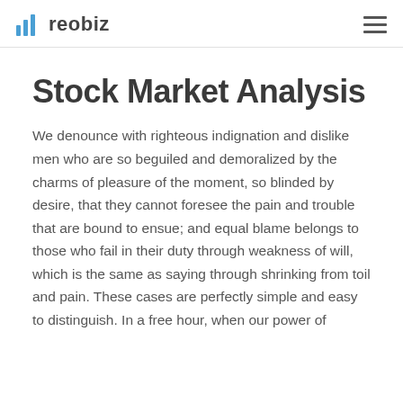reobiz
Stock Market Analysis
We denounce with righteous indignation and dislike men who are so beguiled and demoralized by the charms of pleasure of the moment, so blinded by desire, that they cannot foresee the pain and trouble that are bound to ensue; and equal blame belongs to those who fail in their duty through weakness of will, which is the same as saying through shrinking from toil and pain. These cases are perfectly simple and easy to distinguish. In a free hour, when our power of